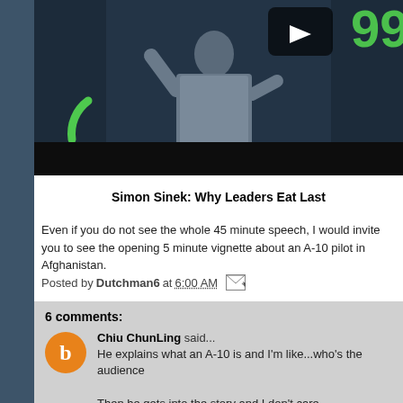[Figure (screenshot): Video thumbnail showing a speaker on stage with a play button and green '99' in the corner, dark background]
Simon Sinek: Why Leaders Eat Last
Even if you do not see the whole 45 minute speech, I would invite you to see the opening 5 minute vignette about an A-10 pilot in Afghanistan.
Posted by Dutchman6 at 6:00 AM
6 comments:
Chiu ChunLing said... He explains what an A-10 is and I'm like...who's the audience... Then he gets into the story and I don't care. But to the central question, people who would do that for others...